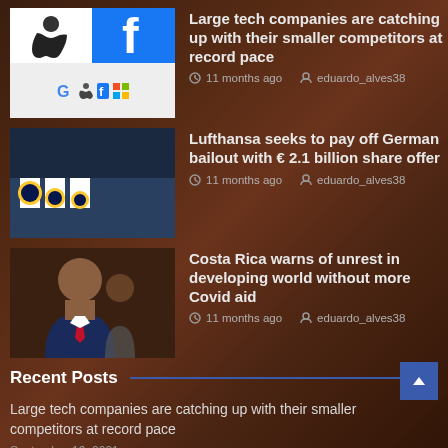[Figure (screenshot): News article thumbnail showing Apple and Facebook logos (top), Google, Apple, Facebook, Microsoft logos (bottom)]
Large tech companies are catching up with their smaller competitors at record pace
11 months ago   eduardo_alves38
[Figure (photo): Lufthansa planes on tarmac with tails visible]
Lufthansa seeks to pay off German bailout with € 2.1 billion share offer
11 months ago   eduardo_alves38
[Figure (photo): Costa Rica president speaking at podium]
Costa Rica warns of unrest in developing world without more Covid aid
11 months ago   eduardo_alves38
Recent Posts
Large tech companies are catching up with their smaller competitors at record pace
September 19, 2021